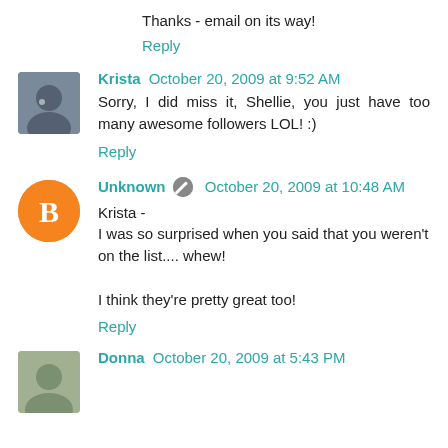Thanks - email on its way!
Reply
Krista  October 20, 2009 at 9:52 AM
Sorry, I did miss it, Shellie, you just have too many awesome followers LOL! :)
Reply
Unknown  October 20, 2009 at 10:48 AM
Krista -
I was so surprised when you said that you weren't on the list.... whew!

I think they're pretty great too!
Reply
Donna  October 20, 2009 at 5:43 PM